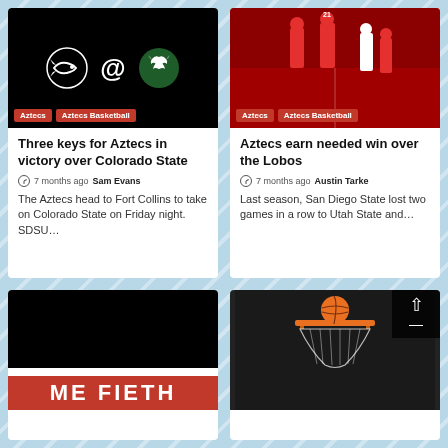[Figure (photo): Black background with SDSU Aztecs logo, @ symbol, and Colorado State Rams logo. Tags: Aztecs, Aztecs Basketball.]
[Figure (photo): Basketball game photo showing players in red uniforms on court. Tags: Aztecs, Aztecs Basketball.]
Three keys for Aztecs in victory over Colorado State
7 months ago  Sam Evans
The Aztecs head to Fort Collins to take on Colorado State on Friday night. SDSU…
Aztecs earn needed win over the Lobos
7 months ago  Austin Tarke
Last season, San Diego State lost two games in a row to Utah State and…
[Figure (photo): Black and red banner with text ME FIETH (partially visible, bottom of page)]
[Figure (photo): Basketball going through a hoop, dark background, with a scroll-to-top button overlay]